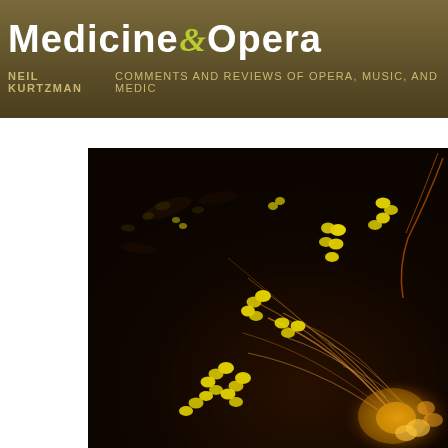Medicine & Opera — NEIL KURTZMAN  COMMENTS AND REVIEWS OF OPERA, MUSIC, AND MEDIC
[Figure (photo): Electron microscope image of bacteria (yellow cocci/streptococci chains) on a dark brown/black background with hair-like filaments radiating from a central structure, false-color fluorescence microscopy style]